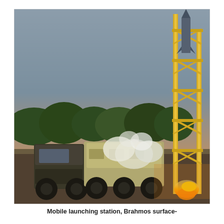[Figure (photo): A military mobile missile launching station on a truck vehicle, with a missile on an elevated launch tower structure glowing with fire/exhaust, white smoke billowing, trees and overcast sky in background.]
Mobile launching station, Brahmos surface-